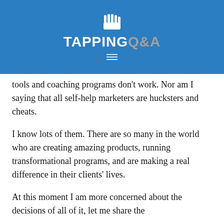TAPPING Q&A
tools and coaching programs don't work. Nor am I saying that all self-help marketers are hucksters and cheats.
I know lots of them. There are so many in the world who are creating amazing products, running transformational programs, and are making a real difference in their clients' lives.
At this moment I am more concerned about the decisions of all of it, let me share the